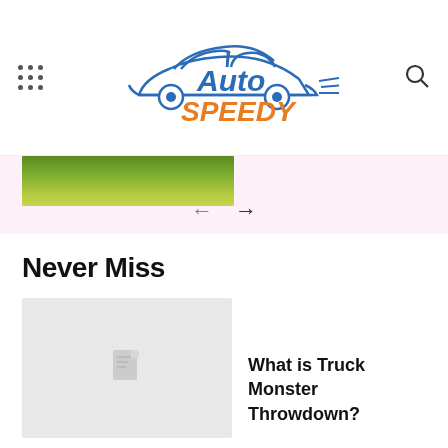Auto Speedy
[Figure (photo): Partial view of a green landscape/field image at top left, part of a slider]
[Figure (other): Navigation arrows (left and right) for an image slider on a light pink background]
Never Miss
[Figure (photo): Placeholder thumbnail image (gray) for article about Truck Monster Throwdown]
What is Truck Monster Throwdown?